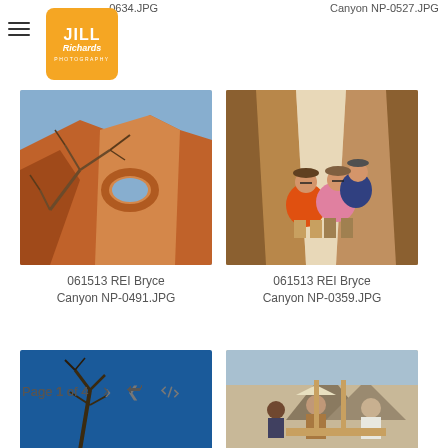Jill Richards Photography logo and navigation
061513 REI Bryce Canyon NP-0634.JPG
Canyon NP-0527.JPG
[Figure (photo): Dead tree branches against red rock formation and blue sky, Bryce Canyon National Park]
061513 REI Bryce Canyon NP-0491.JPG
[Figure (photo): Group of hikers/family sitting between tall sandstone canyon walls]
061513 REI Bryce Canyon NP-0359.JPG
[Figure (photo): Twisted dead tree branches against deep blue sky, Bryce Canyon]
[Figure (photo): People working together at outdoor table with mountains in background]
Page 1 of 4